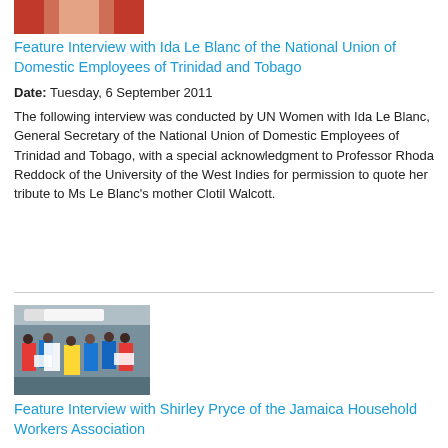[Figure (photo): Partial thumbnail image of a person, cropped at top]
Feature Interview with Ida Le Blanc of the National Union of Domestic Employees of Trinidad and Tobago
Date: Tuesday, 6 September 2011
The following interview was conducted by UN Women with Ida Le Blanc, General Secretary of the National Union of Domestic Employees of Trinidad and Tobago, with a special acknowledgment to Professor Rhoda Reddock of the University of the West Indies for permission to quote her tribute to Ms Le Blanc's mother Clotil Walcott.
[Figure (photo): Group of workers at a protest or demonstration, holding signs and banners outdoors]
Feature Interview with Shirley Pryce of the Jamaica Household Workers Association
Date: Tuesday, 6 September 2011
The following interview was conducted by UN Women with Shirley...